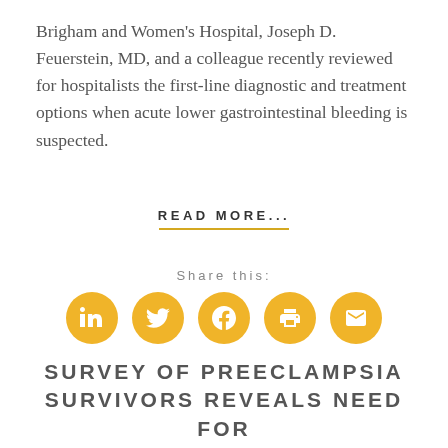Brigham and Women's Hospital, Joseph D. Feuerstein, MD, and a colleague recently reviewed for hospitalists the first-line diagnostic and treatment options when acute lower gastrointestinal bleeding is suspected.
READ MORE...
Share this:
[Figure (infographic): Row of five golden circular social sharing buttons: LinkedIn, Twitter, Facebook, Print, Email]
SURVEY OF PREECLAMPSIA SURVIVORS REVEALS NEED FOR BETTER PATIENT EDUCATION, POSTPARTUM COUNSELING